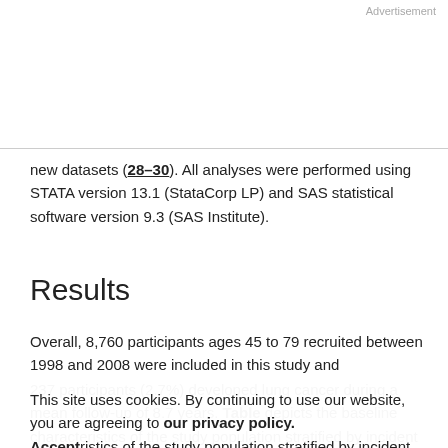Advertisement
new datasets (28–30). All analyses were performed using STATA version 13.1 (StataCorp LP) and SAS statistical software version 9.3 (SAS Institute).
Results
Overall, 8,760 participants ages 45 to 79 recruited between 1998 and 2008 were included in this study and 237 participants (2.7%) developed lung cancer during a mean follow-up of 8.7 years. Table depicts the baseline characteristics of the study population stratified by incident lung cancer status. Lung cancer incidence was higher...
This site uses cookies. By continuing to use our website, you are agreeing to our privacy policy. Accept